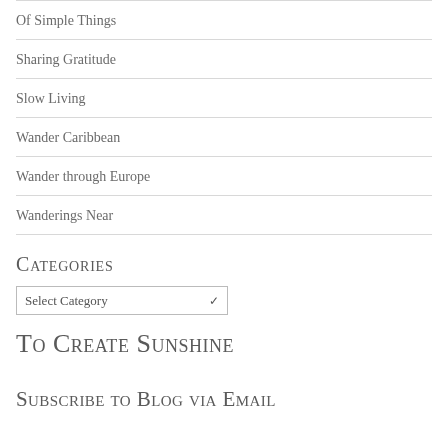Of Simple Things
Sharing Gratitude
Slow Living
Wander Caribbean
Wander through Europe
Wanderings Near
Categories
Select Category
To Create Sunshine
Subscribe to Blog via Email